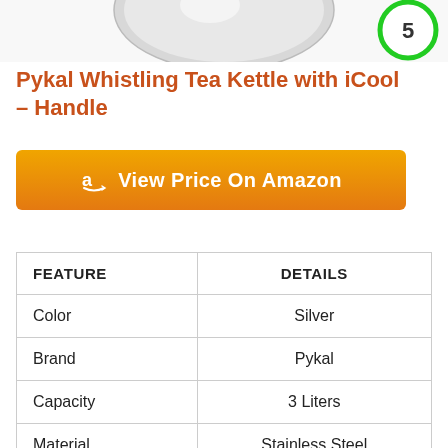[Figure (photo): Top portion of a silver stainless steel tea kettle with Amazon best seller badge (green circle with number 5) in top right corner]
Pykal Whistling Tea Kettle with iCool – Handle
View Price On Amazon
| FEATURE | DETAILS |
| --- | --- |
| Color | Silver |
| Brand | Pykal |
| Capacity | 3 Liters |
| Material | Stainless Steel |
| Indicators | Whistling |